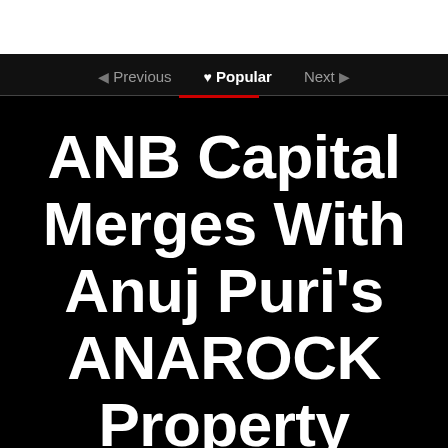Previous | Popular | Next
ANB Capital Merges With Anuj Puri's ANAROCK Property